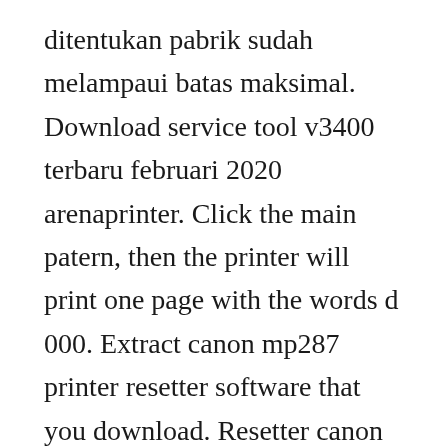ditentukan pabrik sudah melampaui batas maksimal. Download service tool v3400 terbaru februari 2020 arenaprinter. Click the main patern, then the printer will print one page with the words d 000. Extract canon mp287 printer resetter software that you download. Resetter canon service tool v3400 printer software ala driver. Reset canon mp287 dengan service tool mp287 the docter. Home canon resetter resetter canon mp280, mp258, mp287, mp250 download resetter canon mp280, mp258, mp287, mp250 download posted by unknown posted on 11